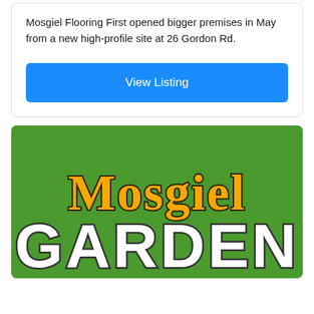Mosgiel Flooring First opened bigger premises in May from a new high-profile site at 26 Gordon Rd.
[Figure (other): Blue 'View Listing' button]
[Figure (logo): Mosgiel Garden logo on green background — 'Mosgiel' in orange cursive script, 'GARDEN' in large white bold text]